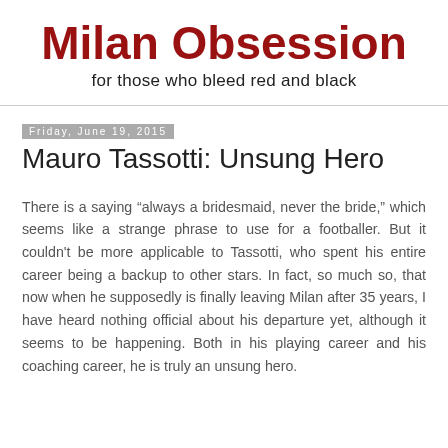Milan Obsession
for those who bleed red and black
Friday, June 19, 2015
Mauro Tassotti: Unsung Hero
There is a saying “always a bridesmaid, never the bride,” which seems like a strange phrase to use for a footballer. But it couldn't be more applicable to Tassotti, who spent his entire career being a backup to other stars. In fact, so much so, that now when he supposedly is finally leaving Milan after 35 years, I have heard nothing official about his departure yet, although it seems to be happening. Both in his playing career and his coaching career, he is truly an unsung hero.